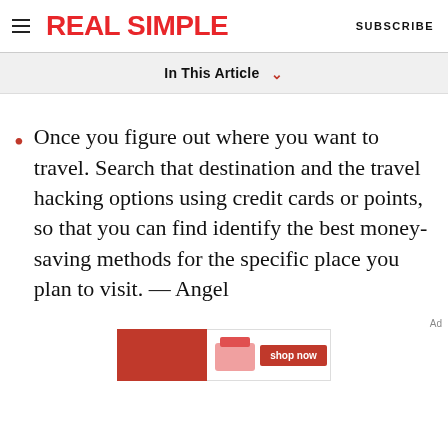REAL SIMPLE  SUBSCRIBE
In This Article
Once you figure out where you want to travel. Search that destination and the travel hacking options using credit cards or points, so that you can find identify the best money-saving methods for the specific place you plan to visit. — Angel
Ad
[Figure (other): Advertisement banner with red background, product image, and 'shop now' button]